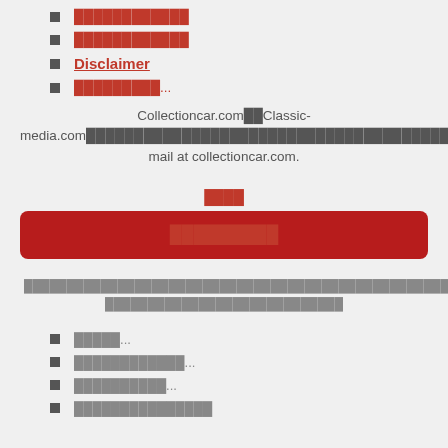████████████
████████████
Disclaimer
█████████...
Collectioncar.com██Classic-media.com████████████████████████████████ ███████████ mail at collectioncar.com.
████
█████████
████████████████████████████████████████████████████████████...██████████ ████████████████████████
█████...
████████████...
██████████...
███████████████